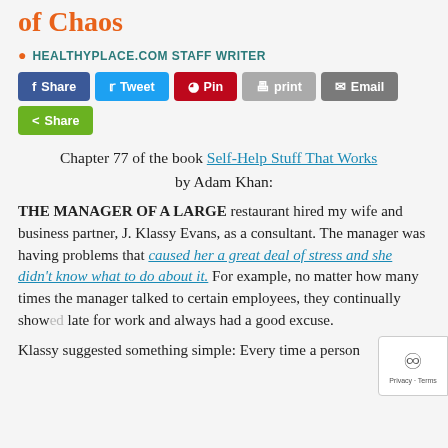of Chaos
HEALTHYPLACE.COM STAFF WRITER
[Figure (other): Social sharing buttons: Share (Facebook), Tweet (Twitter), Pin (Pinterest), print, Email, Share (generic)]
Chapter 77 of the book Self-Help Stuff That Works
by Adam Khan:
THE MANAGER OF A LARGE restaurant hired my wife and business partner, J. Klassy Evans, as a consultant. The manager was having problems that caused her a great deal of stress and she didn't know what to do about it. For example, no matter how many times the manager talked to certain employees, they continually show late for work and always had a good excuse.
Klassy suggested something simple: Every time a person